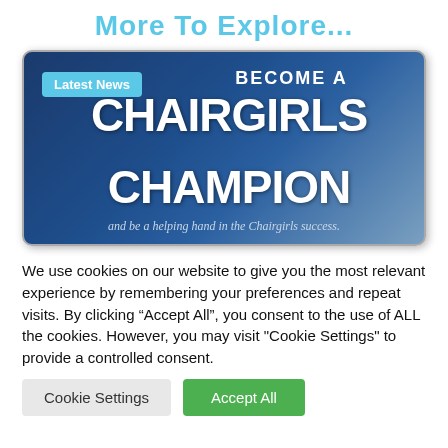More To Explore...
[Figure (illustration): Dark blue banner image with 'Latest News' badge in top-left, text 'BECOME A CHAIRGIRLS CHAMPION and be a helping hand in the Chairgirls success.']
We use cookies on our website to give you the most relevant experience by remembering your preferences and repeat visits. By clicking “Accept All”, you consent to the use of ALL the cookies. However, you may visit "Cookie Settings" to provide a controlled consent.